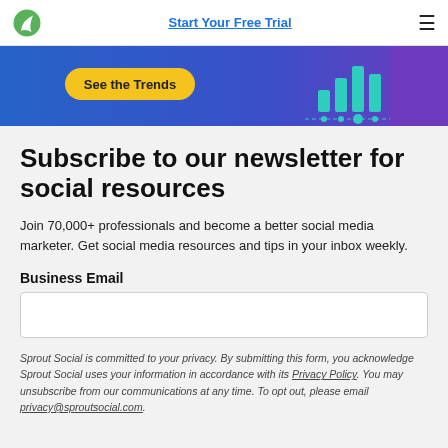Start Your Free Trial
[Figure (screenshot): Banner image with blue/purple gradient background, a yellow 'See the Trends' button on the left, and teal/green bar chart icons on the right.]
Subscribe to our newsletter for social resources
Join 70,000+ professionals and become a better social media marketer. Get social media resources and tips in your inbox weekly.
Business Email
Sprout Social is committed to your privacy. By submitting this form, you acknowledge Sprout Social uses your information in accordance with its Privacy Policy. You may unsubscribe from our communications at any time. To opt out, please email privacy@sproutsocial.com.